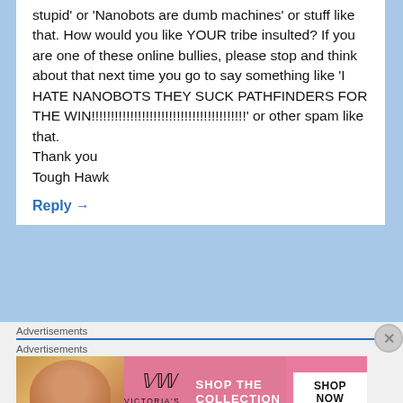stupid' or 'Nanobots are dumb machines' or stuff like that. How would you like YOUR tribe insulted? If you are one of these online bullies, please stop and think about that next time you go to say something like 'I HATE NANOBOTS THEY SUCK PATHFINDERS FOR THE WIN!!!!!!!!!!!!!!!!!!!!!!!!!!!!!!!!!!!!!!!!' or other spam like that.
Thank you
Tough Hawk
Reply →
Advertisements
Advertisements
[Figure (screenshot): Victoria's Secret advertisement banner with model, VS logo, 'SHOP THE COLLECTION' text and 'SHOP NOW' button]